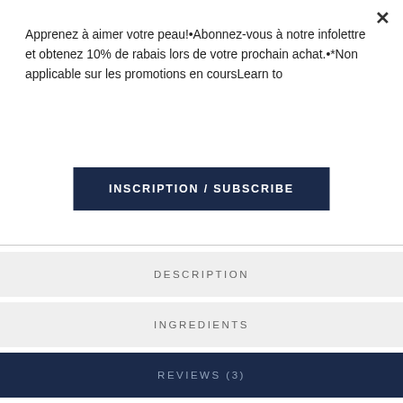Apprenez à aimer votre peau!•Abonnez-vous à notre infolettre et obtenez 10% de rabais lors de votre prochain achat.•*Non applicable sur les promotions en coursLearn to
[Figure (other): Close (×) button for popup]
INSCRIPTION / SUBSCRIBE
DESCRIPTION
INGREDIENTS
REVIEWS (3)
By Joanie B. on  14 July 2022 (Biotik Trio | Facial Cleanser, Serum & Cream) :   (5/5) ★★★★★
Excellent products